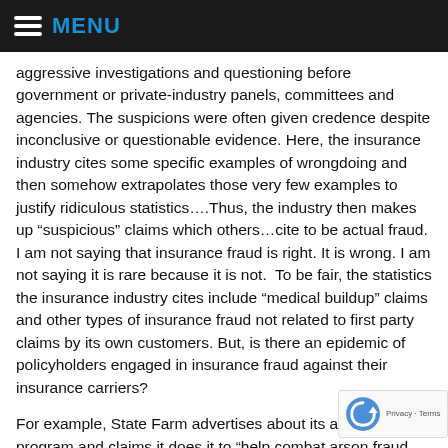MENU
aggressive investigations and questioning before government or private-industry panels, committees and agencies. The suspicions were often given credence despite inconclusive or questionable evidence. Here, the insurance industry cites some specific examples of wrongdoing and then somehow extrapolates those very few examples to justify ridiculous statistics….Thus, the industry then makes up “suspicious” claims which others…cite to be actual fraud. I am not saying that insurance fraud is right. It is wrong. I am not saying it is rare because it is not.  To be fair, the statistics the insurance industry cites include “medical buildup” claims and other types of insurance fraud not related to first party claims by its own customers. But, is there an epidemic of policyholders engaged in insurance fraud against their insurance carriers?
For example, State Farm advertises about its arson dog program and claims it does it to “help combat arson fraud and increase community awareness of the pro… How many State Farm customers commit arson for t… purpose of insurance fraud? Very, very few. While all arson